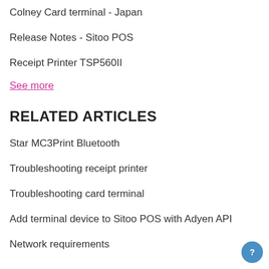Colney Card terminal - Japan
Release Notes - Sitoo POS
Receipt Printer TSP560II
See more
RELATED ARTICLES
Star MC3Print Bluetooth
Troubleshooting receipt printer
Troubleshooting card terminal
Add terminal device to Sitoo POS with Adyen API
Network requirements